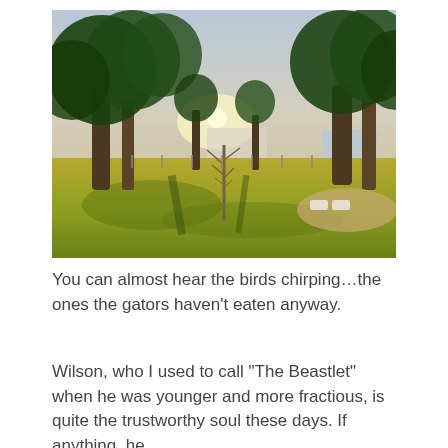[Figure (photo): Outdoor landscape photo showing a grassy field with large oak trees, sunlight filtering through the branches, a small bare tree in the center, and structures/buildings visible in the background.]
You can almost hear the birds chirping...the ones the gators haven't eaten anyway.
Wilson, who I used to call "The Beastlet" when he was younger and more fractious, is quite the trustworthy soul these days. If anything, he